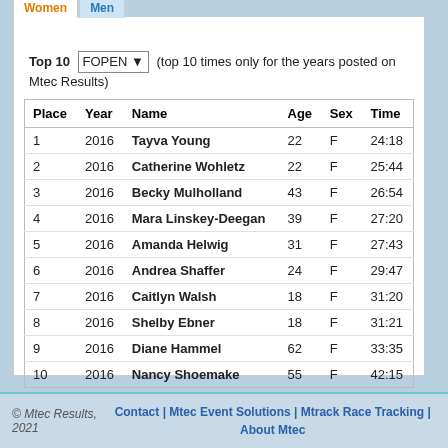Top 10 FOPEN ▾ (top 10 times only for the years posted on Mtec Results)
| Place | Year | Name | Age | Sex | Time |
| --- | --- | --- | --- | --- | --- |
| 1 | 2016 | Tayva Young | 22 | F | 24:18 |
| 2 | 2016 | Catherine Wohletz | 22 | F | 25:44 |
| 3 | 2016 | Becky Mulholland | 43 | F | 26:54 |
| 4 | 2016 | Mara Linskey-Deegan | 39 | F | 27:20 |
| 5 | 2016 | Amanda Helwig | 31 | F | 27:43 |
| 6 | 2016 | Andrea Shaffer | 24 | F | 29:47 |
| 7 | 2016 | Caitlyn Walsh | 18 | F | 31:20 |
| 8 | 2016 | Shelby Ebner | 18 | F | 31:21 |
| 9 | 2016 | Diane Hammel | 62 | F | 33:35 |
| 10 | 2016 | Nancy Shoemake | 55 | F | 42:15 |
© Mtec Results, 2021   Contact | Mtec Event Solutions | Mtrack Race Tracking | About Mtec